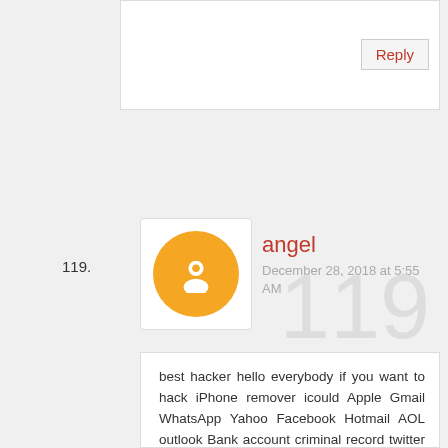PHONE NO: +1 803-399-2661
Reply
119.
[Figure (illustration): Orange Blogger avatar icon in white rounded box]
angel
December 28, 2018 at 5:55 AM
119
best hacker hello everybody if you want to hack iPhone remover icould Apple Gmail WhatsApp Yahoo Facebook Hotmail AOL outlook Bank account criminal record twitter Instagram phone number pos track someone bank account loaded anything social media just contact legend hacker it help me solve my phone icould Apple it help me hack my wife phone number hello everybody if you want to hack anything just contact elizabethjone146@gmail.com or text them on Whatsapp+18573255825 best hackers am very happy about th hacker.